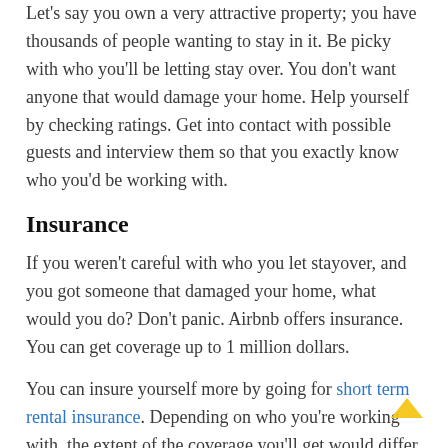Let's say you own a very attractive property; you have thousands of people wanting to stay in it. Be picky with who you'll be letting stay over. You don't want anyone that would damage your home. Help yourself by checking ratings. Get into contact with possible guests and interview them so that you exactly know who you'd be working with.
Insurance
If you weren't careful with who you let stayover, and you got someone that damaged your home, what would you do? Don't panic. Airbnb offers insurance. You can get coverage up to 1 million dollars.
You can insure yourself more by going for short term rental insurance. Depending on who you're working with, the extent of the coverage you'll get would differ.